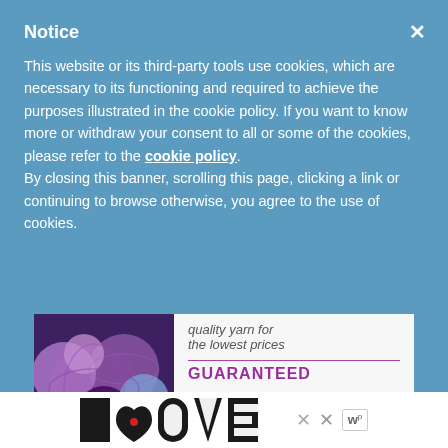Notice
This website or its third-party tools use cookies, which are necessary to its functioning and required to achieve the purposes illustrated in the cookie policy. If you want to know more or withdraw your consent to all or some of the cookies, please refer to the cookie policy. By closing this banner, scrolling this page, clicking a link or continuing to browse otherwise, you agree to the use of cookies.
[Figure (illustration): Advertisement banner showing colorful yarn balls on the left with text 'quality yarn for the lowest prices GUARANTEED' and a SHOP button on the right]
[Figure (logo): LOOVE logo in decorative black and white style with a red heart accent, accompanied by close buttons and a 'w' logo mark]